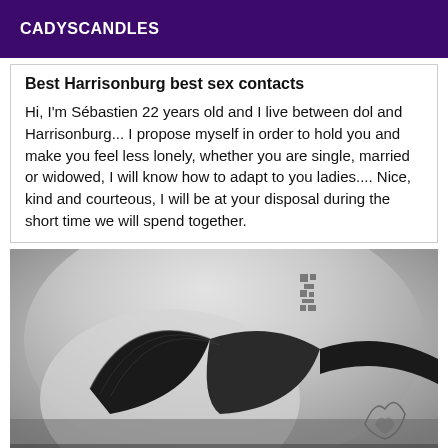CADYSCANDLES
Best Harrisonburg best sex contacts
Hi, I'm Sébastien 22 years old and I live between dol and Harrisonburg... I propose myself in order to hold you and make you feel less lonely, whether you are single, married or widowed, I will know how to adapt to you ladies.... Nice, kind and courteous, I will be at your disposal during the short time we will spend together.
[Figure (photo): Black and white close-up photo of a person wearing a black lace bra with a tattoo visible on the upper chest/shoulder area.]